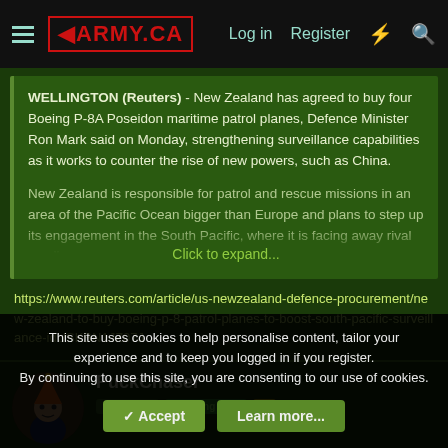ARMY.CA — Log in | Register
WELLINGTON (Reuters) - New Zealand has agreed to buy four Boeing P-8A Poseidon maritime patrol planes, Defence Minister Ron Mark said on Monday, strengthening surveillance capabilities as it works to counter the rise of new powers, such as China.
New Zealand is responsible for patrol and rescue missions in an area of the Pacific Ocean bigger than Europe and plans to step up its engagement in the South Pacific, where it is facing away rival small...
Click to expand...
https://www.reuters.com/article/us-newzealand-defence-procurement/new-zealand-to-buy-boeing-p-8-patrol-planes-to-boost-south-pacific-surveillance-idUSKBN1JZ07J
PuckChaser
This site uses cookies to help personalise content, tailor your experience and to keep you logged in if you register.
By continuing to use this site, you are consenting to our use of cookies.
Accept | Learn more...